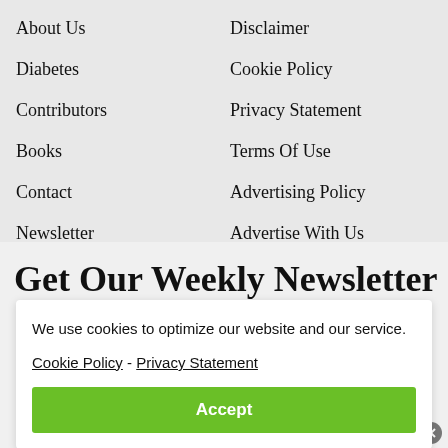About Us
Disclaimer
Diabetes
Cookie Policy
Contributors
Privacy Statement
Books
Terms Of Use
Contact
Advertising Policy
Newsletter
Advertise With Us
Get Our Weekly Newsletter
We use cookies to optimize our website and our service.
Cookie Policy - Privacy Statement
Accept